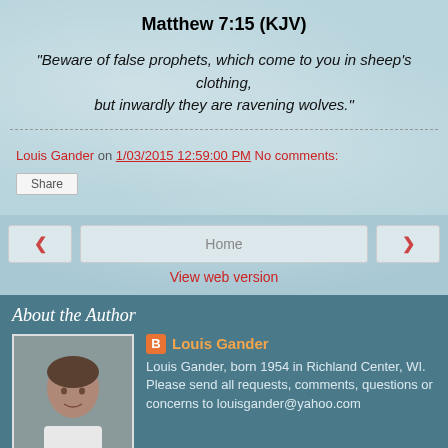Matthew 7:15 (KJV)
"Beware of false prophets, which come to you in sheep's clothing, but inwardly they are ravening wolves."
Louis Gander on 1/03/2015 12:59:00 PM    No comments:
Share
Home
View web version
About the Author
Louis Gander
Louis Gander, born 1954 in Richland Center, WI. Please send all requests, comments, questions or concerns to louisgander@yahoo.com